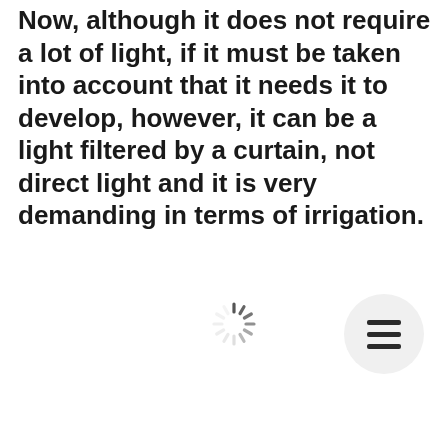Now, although it does not require a lot of light, if it must be taken into account that it needs it to develop, however, it can be a light filtered by a curtain, not direct light and it is very demanding in terms of irrigation.
[Figure (other): Loading spinner icon (circular dashed loader) in gray]
[Figure (other): Hamburger menu button — three horizontal lines inside a circular light gray button]